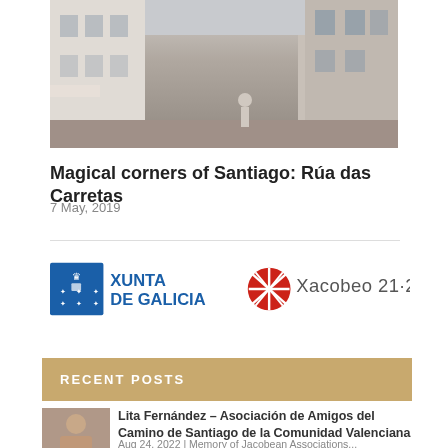[Figure (photo): Street photo of Santiago de Compostela - Rúa das Carretas showing historic buildings]
Magical corners of Santiago: Rúa das Carretas
7 May, 2019
[Figure (logo): Xunta de Galicia and Xacobeo 21-22 logos side by side]
RECENT POSTS
[Figure (photo): Thumbnail photo of Lita Fernández]
Lita Fernández – Asociación de Amigos del Camino de Santiago de la Comunidad Valenciana
Aug 24, 2022 | Memory of Jacobean Associations...